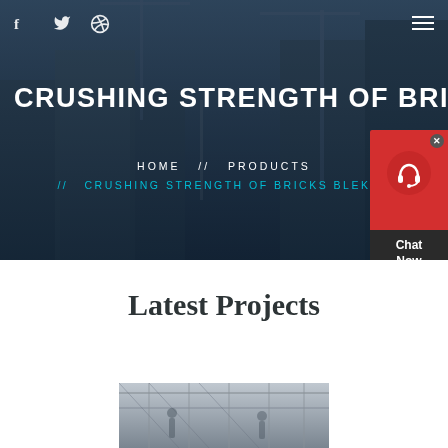[Figure (photo): Hero background image showing construction cranes and buildings under construction against a dark blue overlay]
f  (twitter)  (dribbble)    ≡
CRUSHING STRENGTH OF BRICK
HOME  //  PRODUCTS  //  CRUSHING STRENGTH OF BRICKS BLEKKO
[Figure (illustration): Chat Now widget - red box with headset icon and Chat Now text on dark background]
Latest Projects
[Figure (photo): Construction interior/structure image at bottom of page]